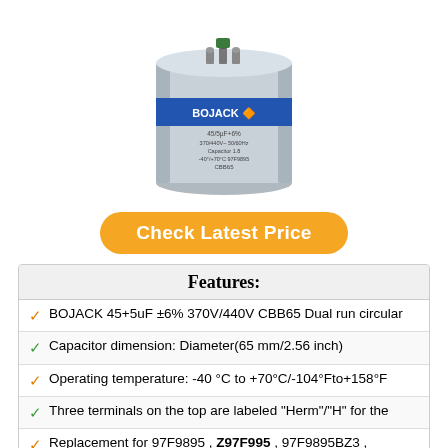[Figure (photo): BOJACK capacitor product photo - silver cylindrical capacitor with blue BOJACK label and CBB65 marking]
Check Latest Price
| Features: |
| --- |
| ✓ BOJACK 45+5uF ±6% 370V/440V CBB65 Dual run circular |
| ✓ Capacitor dimension: Diameter(65 mm/2.56 inch) |
| ✓ Operating temperature: -40 °C to +70°C/-104°Fto+158°F |
| ✓ Three terminals on the top are labeled "Herm"/"H" for the |
| ✓ Replacement for 97F9895 , Z97F995 , 97F9895BZ3 , |
10. POWERWELL 50 + 5 MFD UF PW-50/5/R 370 OR 440 VOLT DUAL RUN ROUND